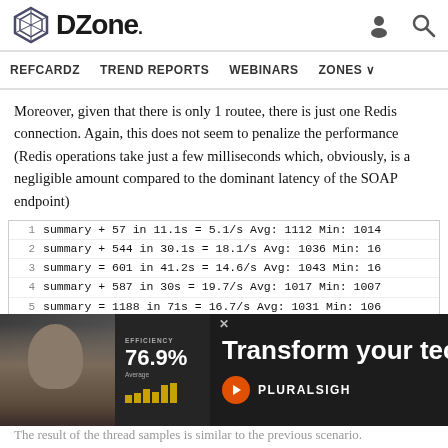DZone
REFCARDZ  TREND REPORTS  WEBINARS  ZONES
Moreover, given that there is only 1 routee, there is just one Redis connection. Again, this does not seem to penalize the performance (Redis operations take just a few milliseconds which, obviously, is a negligible amount compared to the dominant latency of the SOAP endpoint)
[Figure (screenshot): Code block showing JMeter summary output lines numbered 1-8, with performance metrics including throughput rates and average/min response times. Lines: 1: summary + 57 in 11.1s = 5.1/s Avg: 1112 Min: 1014..., 2: summary + 544 in 30.1s = 18.1/s Avg: 1036 Min: 16..., 3: summary = 601 in 41.2s = 14.6/s Avg: 1043 Min: 16..., 4: summary + 587 in 30s = 19.7/s Avg: 1017 Min: 1007..., 5: summary = 1188 in 71s = 16.7/s Avg: 1031 Min: 106..., 6: summary + 593 in 30.2s = 19.7/s Avg: 1016 Min: 16..., 7: summary = 1781 in 101s = 17.6/s Avg: 1026 Min: 16..., 8: summary + 587 in 30s = 19.7/s Avg: 1016 Min: 1005...]
[Figure (other): Pluralsight advertisement overlay with text 'Transform your techno...' and efficiency statistic 76.9%]
The result of the thread samples is similar to the previous scenario.